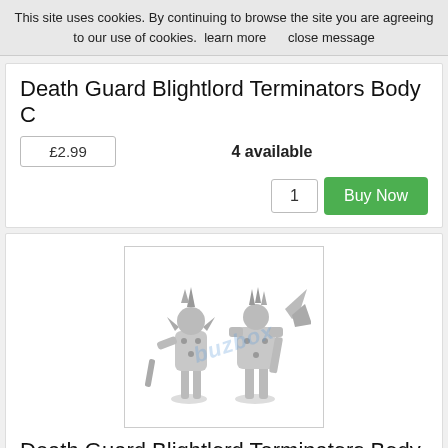This site uses cookies. By continuing to browse the site you are agreeing to our use of cookies.  learn more     close message
Death Guard Blightlord Terminators Body C
£2.99
4 available
1
Buy Now
[Figure (photo): Product photo of Death Guard Blightlord Terminators Body D miniatures, showing two fantasy/sci-fi armored figures with spikes, with a 'buzbox' watermark overlaid]
Death Guard Blightlord Terminators Body D
£2.99
3 available
1
Buy Now